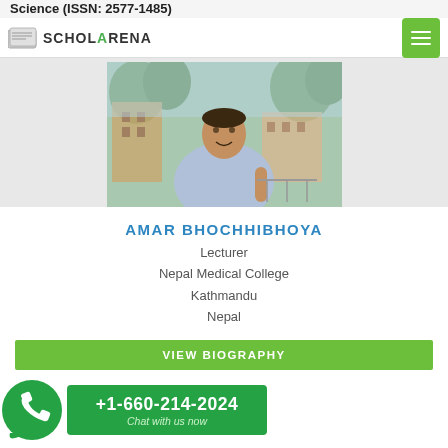Science (ISSN: 2577-1485)
SCHOLARENA
[Figure (photo): Profile photo of Amar Bhochhibhoya, a man standing outdoors smiling, with buildings and trees in background]
AMAR BHOCHHIBHOYA
Lecturer
Nepal Medical College
Kathmandu
Nepal
VIEW BIOGRAPHY
+1-660-214-2024
Chat with us now